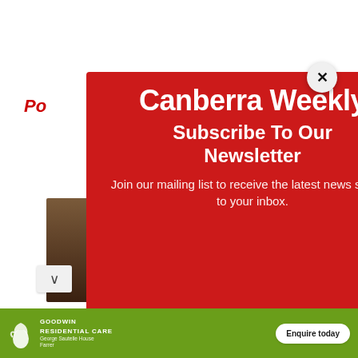[Figure (screenshot): Website page background showing partial text 'Po' in red italic, a dark image on left side, and partial text fragments on right side.]
Canberra Weekly
Subscribe To Our Newsletter
Join our mailing list to receive the latest news straight to your inbox.
Email
SUBSCRIBE!
[Figure (logo): Goodwin Residential Care logo with swan graphic, George Sautelle House Farrer text, and Enquire today button on green background.]